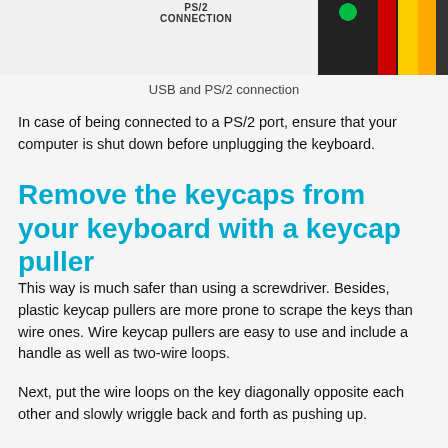[Figure (photo): Top portion of an image showing USB and PS/2 connection area with text 'PS/2 CONNECTION' and colored cables on the right side]
USB and PS/2 connection
In case of being connected to a PS/2 port, ensure that your computer is shut down before unplugging the keyboard.
Remove the keycaps from your keyboard with a keycap puller
This way is much safer than using a screwdriver. Besides, plastic keycap pullers are more prone to scrape the keys than wire ones. Wire keycap pullers are easy to use and include a handle as well as two-wire loops.
Next, put the wire loops on the key diagonally opposite each other and slowly wriggle back and forth as pushing up.